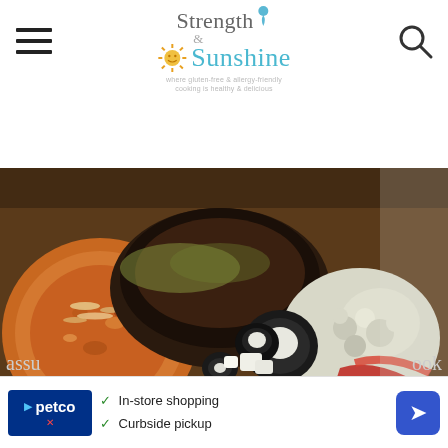Strength & Sunshine — where gluten-free & allergy-friendly cooking is healthy & delicious
[Figure (photo): Close-up photo of pizza toppings including roasted vegetables, black olives, cauliflower, and tomato sauce on a crust]
Now apparently, this place is rated one of the number one spots on the boardwalk, however, we beg to differ. It was a day many years ago and we stopped in to grab some pizza for lunch. My mom, brother, and I all ordered a few slices and went and sat down at a table in the back. I assu[me we all started eating and then] look dow[n and] now
[Figure (infographic): Petco advertisement banner: In-store shopping, Curbside pickup]